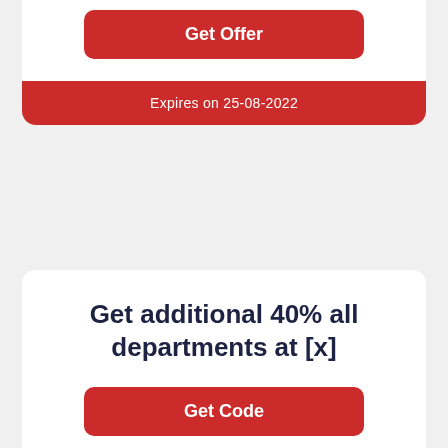Get Offer
Expires on 25-08-2022
Get additional 40% all departments at [x]
Get Code
Expires on 11-08-2022